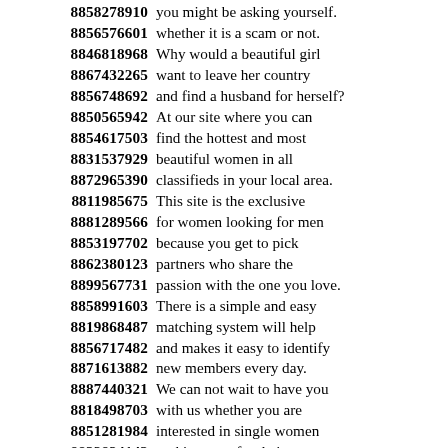8858278910 you might be asking yourself.
8856576601 whether it is a scam or not.
8846818968 Why would a beautiful girl
8867432265 want to leave her country
8856748692 and find a husband for herself?
8850565942 At our site where you can
8854617503 find the hottest and most
8831537929 beautiful women in all
8872965390 classifieds in your local area.
8811985675 This site is the exclusive
8881289566 for women looking for men
8853197702 because you get to pick
8862380123 partners who share the
8899567731 passion with the one you love.
8858991603 There is a simple and easy
8819868487 matching system will help
8856717482 and makes it easy to identify
8871613882 new members every day.
8887440321 We can not wait to have you
8818498703 with us whether you are
8851281984 interested in single women
8832824143 seeking men for dating.
8818621328 There is no way to keep
8842913881 having fun talking with
8848569959 someone who is really boring
8862871966 when there are so many